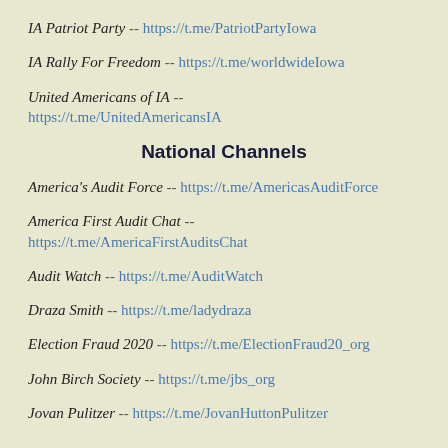IA Patriot Party -- https://t.me/PatriotPartyIowa
IA Rally For Freedom -- https://t.me/worldwideIowa
United Americans of IA -- https://t.me/UnitedAmericansIA
National Channels
America's Audit Force -- https://t.me/AmericasAuditForce
America First Audit Chat -- https://t.me/AmericaFirstAuditsChat
Audit Watch -- https://t.me/AuditWatch
Draza Smith -- https://t.me/ladydraza
Election Fraud 2020 -- https://t.me/ElectionFraud20_org
John Birch Society -- https://t.me/jbs_org
Jovan Pulitzer -- https://t.me/JovanHuttonPulitzer